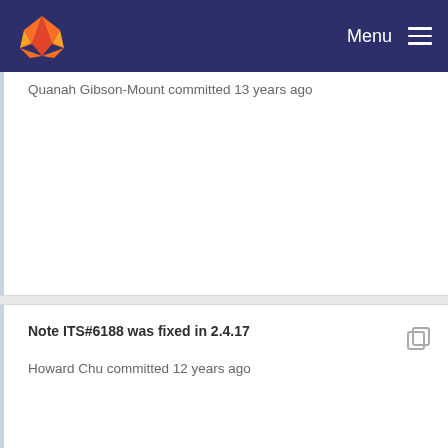Menu
Quanah Gibson-Mount committed 13 years ago
Note ITS#6188 was fixed in 2.4.17
Howard Chu committed 12 years ago
ITS#6041
Quanah Gibson-Mount committed 13 years ago